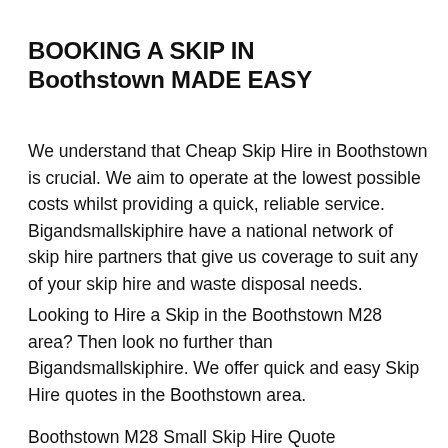BOOKING A SKIP IN Boothstown MADE EASY
We understand that Cheap Skip Hire in Boothstown is crucial. We aim to operate at the lowest possible costs whilst providing a quick, reliable service. Bigandsmallskiphire have a national network of skip hire partners that give us coverage to suit any of your skip hire and waste disposal needs.
Looking to Hire a Skip in the Boothstown M28 area? Then look no further than Bigandsmallskiphire. We offer quick and easy Skip Hire quotes in the Boothstown area.
Boothstown M28 Small Skip Hire Quote